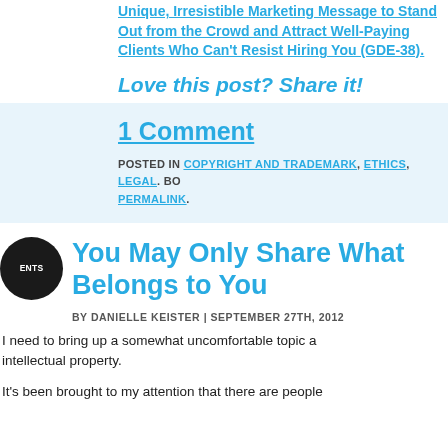Unique, Irresistible Marketing Message to Stand Out from the Crowd and Attract Well-Paying Clients Who Can't Resist Hiring You (GDE-38).
Love this post? Share it!
1 Comment
POSTED IN COPYRIGHT AND TRADEMARK, ETHICS, LEGAL. BOOKMARK THE PERMALINK.
You May Only Share What Belongs to You
BY DANIELLE KEISTER | SEPTEMBER 27TH, 2012
I need to bring up a somewhat uncomfortable topic about intellectual property.
It's been brought to my attention that there are people